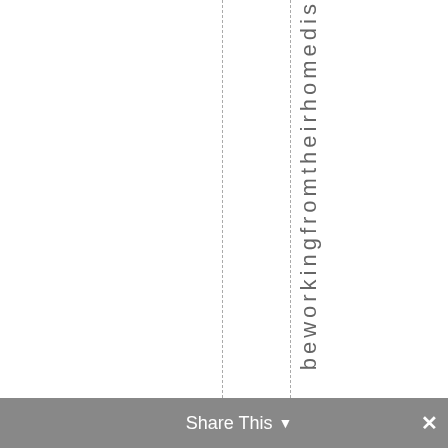beworkingfromtheirhomedit
Share This ∨  ×